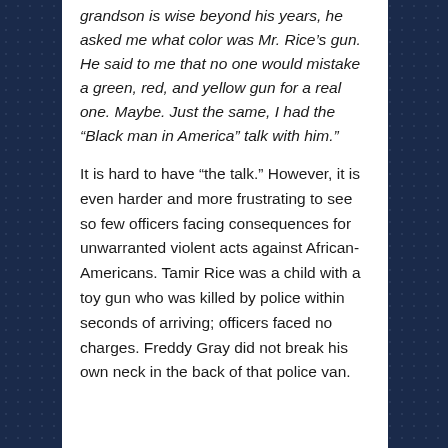grandson is wise beyond his years, he asked me what color was Mr. Rice's gun. He said to me that no one would mistake a green, red, and yellow gun for a real one. Maybe. Just the same, I had the “Black man in America” talk with him.”
It is hard to have “the talk.” However, it is even harder and more frustrating to see so few officers facing consequences for unwarranted violent acts against African-Americans. Tamir Rice was a child with a toy gun who was killed by police within seconds of arriving; officers faced no charges. Freddy Gray did not break his own neck in the back of that police van.